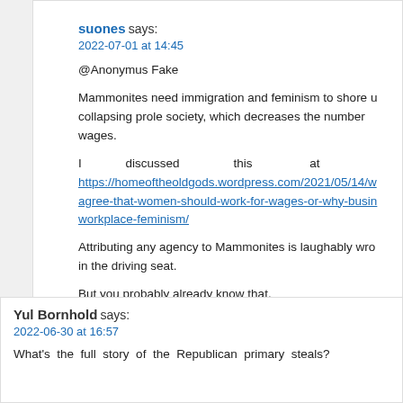suones says:
2022-07-01 at 14:45

@Anonymus Fake

Mammonites need immigration and feminism to shore u collapsing prole society, which decreases the number wages.

I discussed this at https://homeoftheoldgods.wordpress.com/2021/05/14/w agree-that-women-should-work-for-wages-or-why-busin workplace-feminism/

Attributing any agency to Mammonites is laughably wro in the driving seat.

But you probably already know that.

Reply
Yul Bornhold says:
2022-06-30 at 16:57

What's the full story of the Republican primary steals?